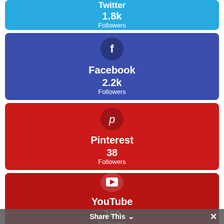[Figure (infographic): Twitter social media follower count card showing 1.8k Followers]
[Figure (infographic): Facebook social media follower count card showing 2.2k Followers]
[Figure (infographic): Pinterest social media follower count card showing 38 Followers]
[Figure (infographic): YouTube social media follower count card showing 360 Followers]
Share This